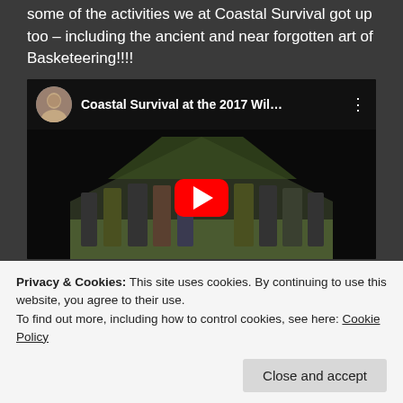some of the activities we at Coastal Survival got up too – including the ancient and near forgotten art of Basketeering!!!!
[Figure (screenshot): YouTube video embed showing 'Coastal Survival at the 2017 Wil...' with play button overlay, group of people outdoors in background thumbnail]
Privacy & Cookies: This site uses cookies. By continuing to use this website, you agree to their use.
To find out more, including how to control cookies, see here: Cookie Policy
Close and accept